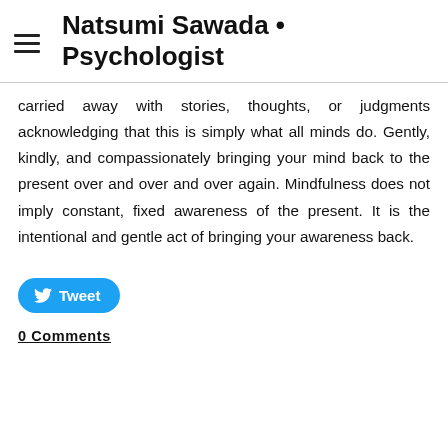Natsumi Sawada • Psychologist
carried away with stories, thoughts, or judgments acknowledging that this is simply what all minds do. Gently, kindly, and compassionately bringing your mind back to the present over and over and over again. Mindfulness does not imply constant, fixed awareness of the present. It is the intentional and gentle act of bringing your awareness back.
[Figure (other): Twitter Tweet button]
0 Comments